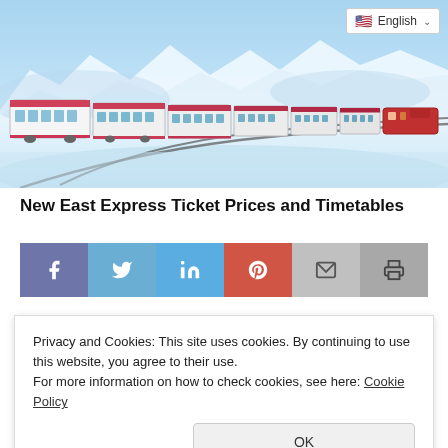[Figure (photo): A long passenger train with white and red cars curving along snowy tracks, snow-covered landscape with mountains in background, blue sky]
New East Express Ticket Prices and Timetables
[Figure (infographic): Social media share buttons: Facebook (purple-blue), Twitter (light blue), LinkedIn (blue), Pinterest (red), Email (light grey), Print (grey)]
Privacy and Cookies: This site uses cookies. By continuing to use this website, you agree to their use.
For more information on how to check cookies, see here: Cookie Policy
passengers said. The Eastern Express will stop between